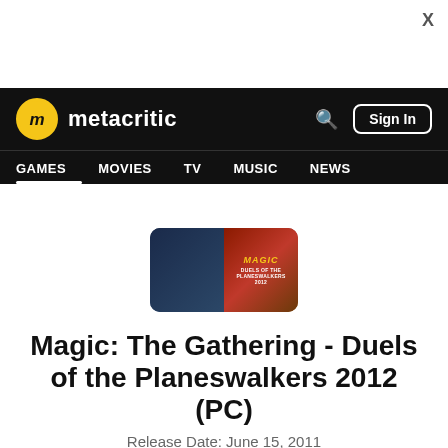X
[Figure (screenshot): Metacritic navigation bar with logo, search, Sign In button, and nav links: GAMES, MOVIES, TV, MUSIC, NEWS]
[Figure (illustration): Magic: The Gathering - Duels of the Planeswalkers 2012 game cover art thumbnail]
Magic: The Gathering - Duels of the Planeswalkers 2012 (PC)
Release Date: June 15, 2011